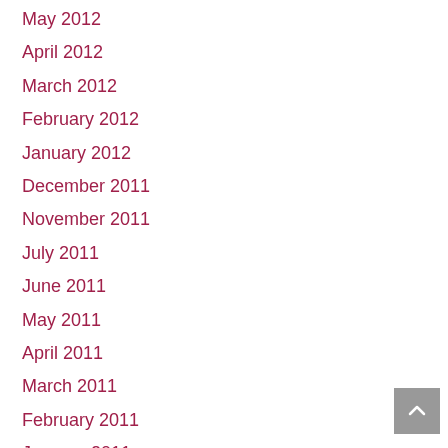May 2012
April 2012
March 2012
February 2012
January 2012
December 2011
November 2011
July 2011
June 2011
May 2011
April 2011
March 2011
February 2011
January 2011